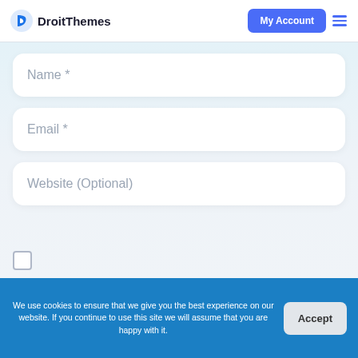[Figure (logo): DroitThemes logo with blue circular D icon and bold text 'DroitThemes']
My Account
Name *
Email *
Website (Optional)
We use cookies to ensure that we give you the best experience on our website. If you continue to use this site we will assume that you are happy with it.
Accept